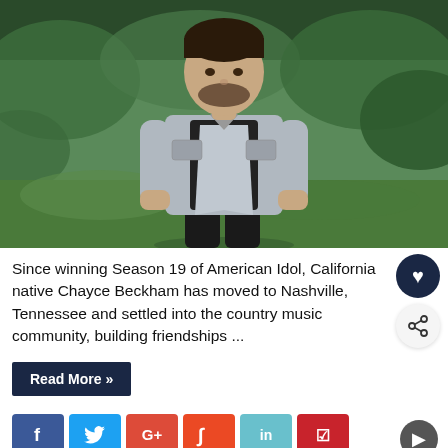[Figure (photo): Young man with short beard wearing a gray denim jacket over a black shirt, standing outdoors in front of green foliage, hands in pockets.]
Since winning Season 19 of American Idol, California native Chayce Beckham has moved to Nashville, Tennessee and settled into the country music community, building friendships ...
Read More »
[Figure (infographic): Social media sharing buttons row: Facebook (dark blue), Twitter (light blue), Google+ (red), StumbleUpon (orange), LinkedIn (teal), Pinterest (red)]